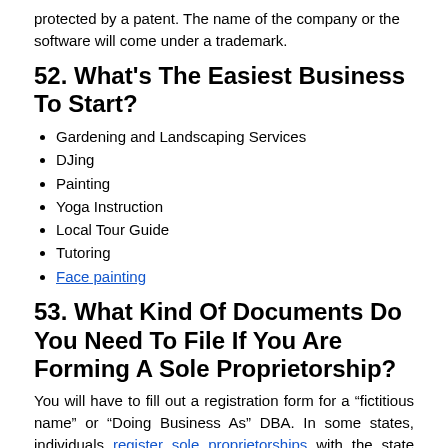protected by a patent. The name of the company or the software will come under a trademark.
52. What's The Easiest Business To Start?
Gardening and Landscaping Services
DJing
Painting
Yoga Instruction
Local Tour Guide
Tutoring
Face painting
53. What Kind Of Documents Do You Need To File If You Are Forming A Sole Proprietorship?
You will have to fill out a registration form for a “fictitious name” or “Doing Business As” DBA. In some states, individuals register sole proprietorships with the state government or the county clerk’s office. Appropriate identification will be required such as your driver’s license or your state ID card. You may also need an EIN.